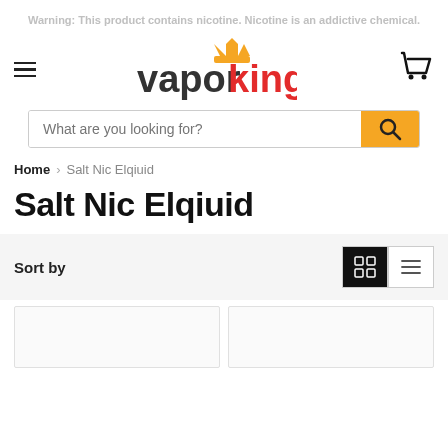Warning: This product contains nicotine. Nicotine is an addictive chemical.
[Figure (logo): VaporKing logo with crown icon above 'king' in red and 'vapor' in dark gray]
What are you looking for?
Home > Salt Nic Elqiuid
Salt Nic Elqiuid
Sort by